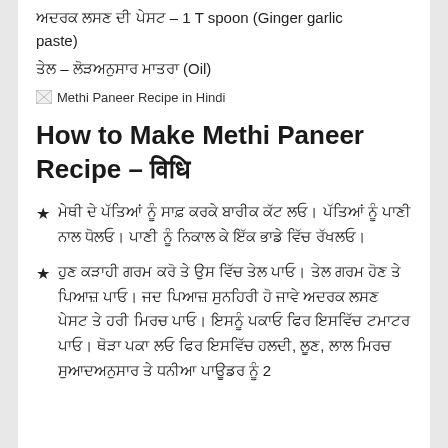अदरक लहसुन की पेस्ट – 1 T spoon (Ginger garlic paste)
तेल – आवश्यकतानुसार तेलमात्र (Oil)
[Figure (photo): Broken image placeholder with alt text: Methi Paneer Recipe in Hindi]
How to Make Methi Paneer Recipe – विधि
★ मेथी के पत्तों को साफ़ कर लें। उन्हें बारीक काट लें। पत्तियों को पानी से अच्छी तरह से धो लें। पानी को निकाल कर एक बर्तन में रख लें।
★ अब कड़ाही गरम करें और उसमें तेल डालिए। तेल गरम होने पर प्याज डालें। जब प्याज सुनहरी हो जाए तो अदरक लहसुन पेस्ट और हरी मिर्च डालें। इसको पकाएं और इसमें टमाटर डाल दे। थोड़ा पका लें फिर इसमें हल्दी, नमक, लाल मिर्च स्वादानुसार और धनिया पाउडर को 2